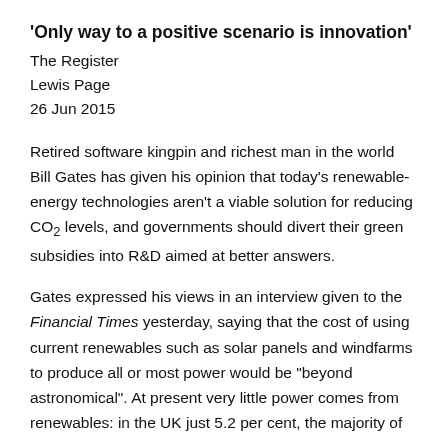‘Only way to a positive scenario is innovation’
The Register
Lewis Page
26 Jun 2015
Retired software kingpin and richest man in the world Bill Gates has given his opinion that today’s renewable-energy technologies aren’t a viable solution for reducing CO₂ levels, and governments should divert their green subsidies into R&D aimed at better answers.
Gates expressed his views in an interview given to the Financial Times yesterday, saying that the cost of using current renewables such as solar panels and windfarms to produce all or most power would be “beyond astronomical”. At present very little power comes from renewables: in the UK just 5.2 per cent, the majority of